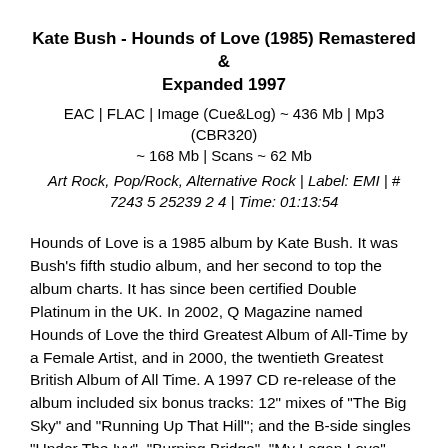Kate Bush - Hounds of Love (1985) Remastered & Expanded 1997
EAC | FLAC | Image (Cue&Log) ~ 436 Mb | Mp3 (CBR320) ~ 168 Mb | Scans ~ 62 Mb
Art Rock, Pop/Rock, Alternative Rock | Label: EMI | # 7243 5 25239 2 4 | Time: 01:13:54
Hounds of Love is a 1985 album by Kate Bush. It was Bush's fifth studio album, and her second to top the album charts. It has since been certified Double Platinum in the UK. In 2002, Q Magazine named Hounds of Love the third Greatest Album of All-Time by a Female Artist, and in 2000, the twentieth Greatest British Album of All Time. A 1997 CD re-release of the album included six bonus tracks: 12" mixes of "The Big Sky" and "Running Up That Hill"; and the B-side singles "Under The Ivy", "Burning Bridge", "My Lagan Love", and "Be Kind To My Mistakes".